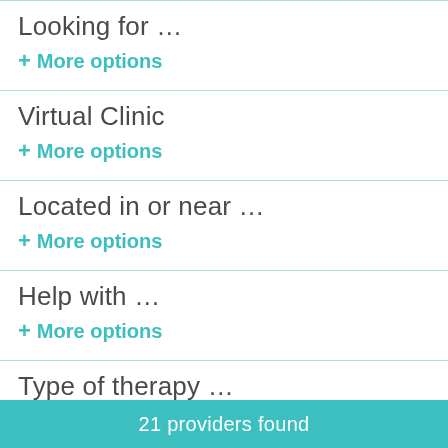Looking for …
+ More options
Virtual Clinic
+ More options
Located in or near …
+ More options
Help with …
+ More options
Type of therapy …
21 providers found